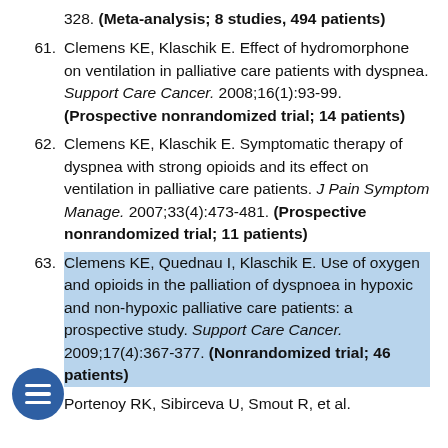328. (Meta-analysis; 8 studies, 494 patients)
61. Clemens KE, Klaschik E. Effect of hydromorphone on ventilation in palliative care patients with dyspnea. Support Care Cancer. 2008;16(1):93-99. (Prospective nonrandomized trial; 14 patients)
62. Clemens KE, Klaschik E. Symptomatic therapy of dyspnea with strong opioids and its effect on ventilation in palliative care patients. J Pain Symptom Manage. 2007;33(4):473-481. (Prospective nonrandomized trial; 11 patients)
63. Clemens KE, Quednau I, Klaschik E. Use of oxygen and opioids in the palliation of dyspnoea in hypoxic and non-hypoxic palliative care patients: a prospective study. Support Care Cancer. 2009;17(4):367-377. (Nonrandomized trial; 46 patients)
64. Portenoy RK, Sibirceva U, Smout R, et al.